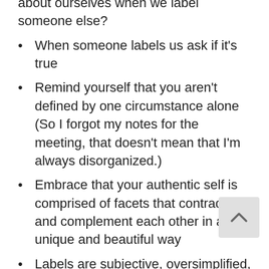about ourselves when we label someone else?
When someone labels us ask if it's true
Remind yourself that you aren't defined by one circumstance alone (So I forgot my notes for the meeting, that doesn't mean that I'm always disorganized.)
Embrace that your authentic self is comprised of facets that contradict and complement each other in a unique and beautiful way
Labels are subjective, oversimplified, and inflexible and people are very much NOT